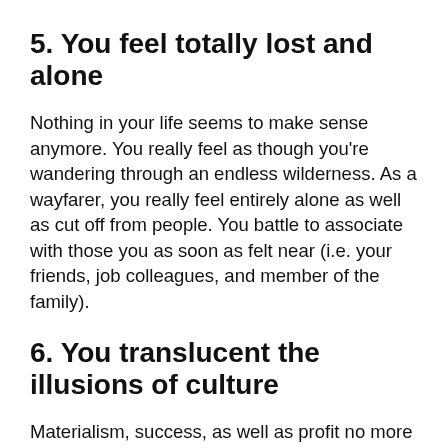5. You feel totally lost and alone
Nothing in your life seems to make sense anymore. You really feel as though you're wandering through an endless wilderness. As a wayfarer, you really feel entirely alone as well as cut off from people. You battle to associate with those you as soon as felt near (i.e. your friends, job colleagues, and member of the family).
6. You translucent the illusions of culture
Materialism, success, as well as profit no more mean anything to you. You begin really feeling as though you're a cog in the maker…